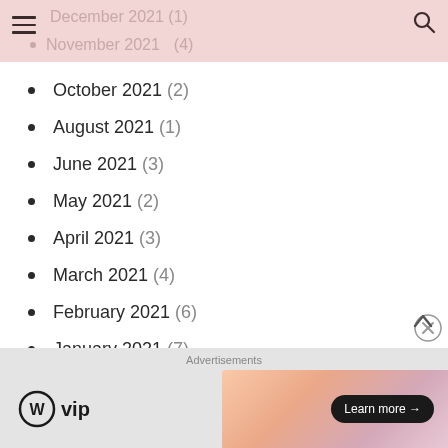December 2021 (1)
November 2021 (4)
October 2021 (2)
August 2021 (1)
June 2021 (3)
May 2021 (2)
April 2021 (3)
March 2021 (4)
February 2021 (6)
January 2021 (7)
[Figure (infographic): WordPress VIP advertisement banner with Learn more button]
Advertisements